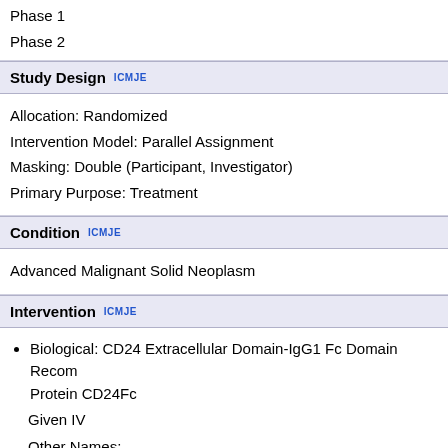Phase 1
Phase 2
Study Design  ICMJE
Allocation: Randomized
Intervention Model: Parallel Assignment
Masking: Double (Participant, Investigator)
Primary Purpose: Treatment
Condition  ICMJE
Advanced Malignant Solid Neoplasm
Intervention  ICMJE
Biological: CD24 Extracellular Domain-IgG1 Fc Domain Recombinant Protein CD24Fc
Given IV
Other Names:
  CD24Fc